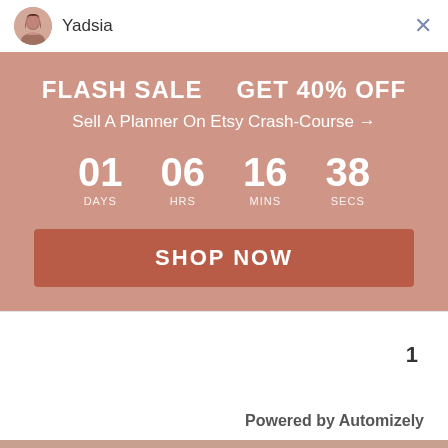Yadsia
[Figure (infographic): Flash sale banner with countdown timer showing 01 days, 06 hrs, 16 mins, 38 secs and a SHOP NOW button. Background is muted rose/terracotta color.]
1
Powered by Automizely